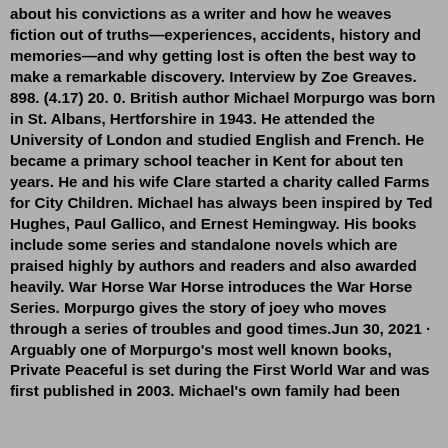about his convictions as a writer and how he weaves fiction out of truths—experiences, accidents, history and memories—and why getting lost is often the best way to make a remarkable discovery. Interview by Zoe Greaves. 898. (4.17) 20. 0. British author Michael Morpurgo was born in St. Albans, Hertforshire in 1943. He attended the University of London and studied English and French. He became a primary school teacher in Kent for about ten years. He and his wife Clare started a charity called Farms for City Children. Michael has always been inspired by Ted Hughes, Paul Gallico, and Ernest Hemingway. His books include some series and standalone novels which are praised highly by authors and readers and also awarded heavily. War Horse War Horse introduces the War Horse Series. Morpurgo gives the story of joey who moves through a series of troubles and good times.Jun 30, 2021 · Arguably one of Morpurgo's most well known books, Private Peaceful is set during the First World War and was first published in 2003. Michael's own family had been